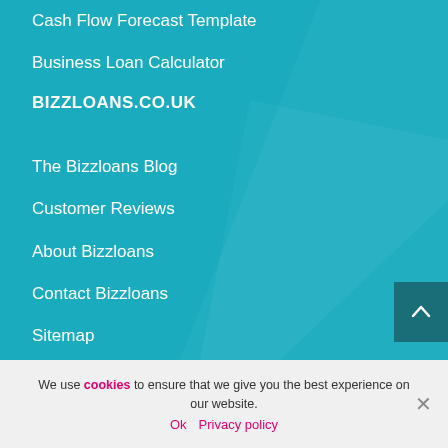Cash Flow Forecast Template
Business Loan Calculator
BIZZLOANS.CO.UK
The Bizzloans Blog
Customer Reviews
About Bizzloans
Contact Bizzloans
Sitemap
We use cookies to ensure that we give you the best experience on our website.
Ok  Privacy policy